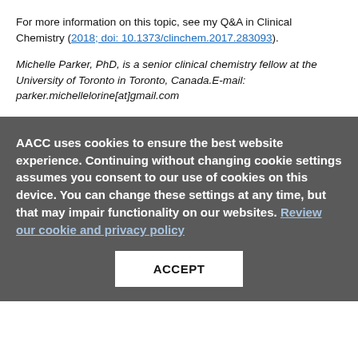For more information on this topic, see my Q&A in Clinical Chemistry (2018; doi: 10.1373/clinchem.2017.283093).
Michelle Parker, PhD, is a senior clinical chemistry fellow at the University of Toronto in Toronto, Canada.E-mail: parker.michellelorine[at]gmail.com
AACC uses cookies to ensure the best website experience. Continuing without changing cookie settings assumes you consent to our use of cookies on this device. You can change these settings at any time, but that may impair functionality on our websites. Review our cookie and privacy policy